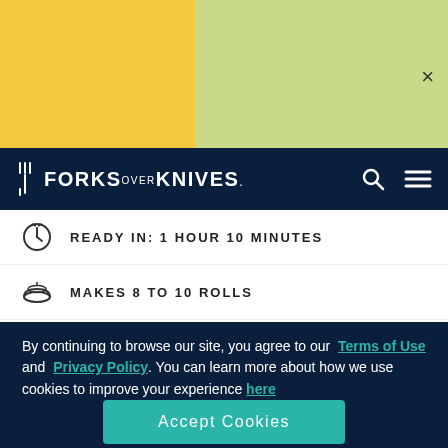[Figure (other): Advertisement banner with yellow and light green background sections, with an X close button in the top right]
FORKS OVER KNIVES
READY IN: 1 HOUR 10 MINUTES
MAKES 8 TO 10 ROLLS
PRINT/SAVE RECIPE
By continuing to browse our site, you agree to our Terms of Use and Privacy Policy. You can learn more about how we use cookies to improve your experience here
Do Not Sell My Personal Information
Accept Cookies